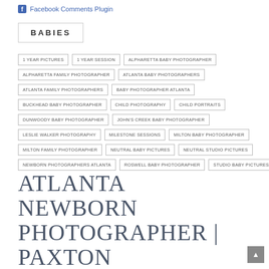Facebook Comments Plugin
BABIES
1 YEAR PICTURES
1 YEAR SESSION
ALPHARETTA BABY PHOTOGRAPHER
ALPHARETTA FAMILY PHOTOGRAPHER
ATLANTA BABY PHOTOGRAPHERS
ATLANTA FAMILY PHOTOGRAPHERS
BABY PHOTOGRAPHER ATLANTA
BUCKHEAD BABY PHOTOGRAPHER
CHILD PHOTOGRAPHY
CHILD PORTRAITS
DUNWOODY BABY PHOTOGRAPHER
JOHN'S CREEK BABY PHOTOGRAPHER
LESLIE WALKER PHOTOGRAPHY
MILESTONE SESSIONS
MILTON BABY PHOTOGRAPHER
MILTON FAMILY PHOTOGRAPHER
NEUTRAL BABY PICTURES
NEUTRAL STUDIO PICTURES
NEWBORN PHOTOGRAPHERS ATLANTA
ROSWELL BABY PHOTOGRAPHER
STUDIO BABY PICTURES
ATLANTA NEWBORN PHOTOGRAPHER | PAXTON